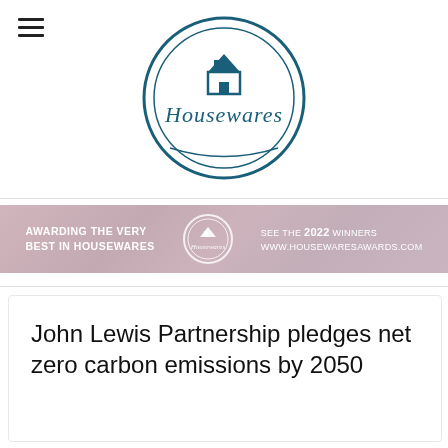[Figure (logo): Housewares circular logo with house icon and script text]
[Figure (infographic): Banner strip: AWARDING THE VERY BEST IN HOUSEWARES | Housewares logo | SEE THE 2022 WINNERS www.housewaresawards.com]
John Lewis Partnership pledges net zero carbon emissions by 2050